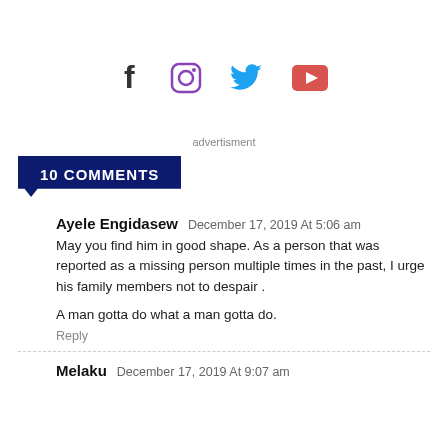[Figure (other): Social media icons: Facebook, Instagram, Twitter, YouTube]
advertisment
10 COMMENTS
Ayele Engidasew December 17, 2019 At 5:06 am
May you find him in good shape. As a person that was reported as a missing person multiple times in the past, I urge his family members not to despair .

A man gotta do what a man gotta do.
Reply
Melaku December 17, 2019 At 9:07 am